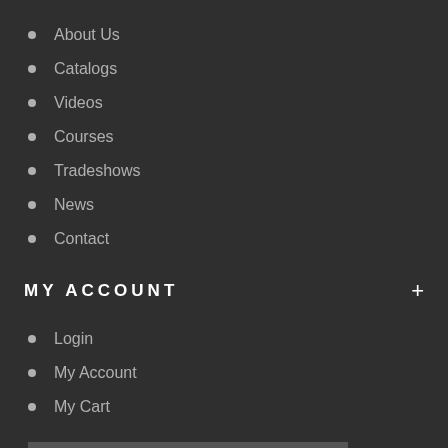About Us
Catalogs
Videos
Courses
Tradeshows
News
Contact
MY ACCOUNT
Login
My Account
My Cart